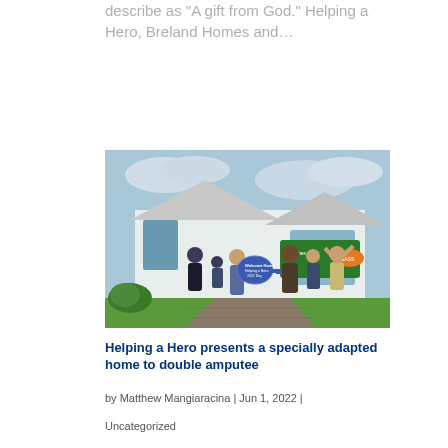describe as "A gift from God." Helping a Hero, Breland Homes and…
[Figure (photo): A family of five people standing in front of a suburban home holding a large ceremonial key. A banner in the background reads '0 HOmes'. The group is dressed in matching navy outfits.]
Helping a Hero presents a specially adapted home to double amputee
by Matthew Mangiaracina | Jun 1, 2022 |
Uncategorized